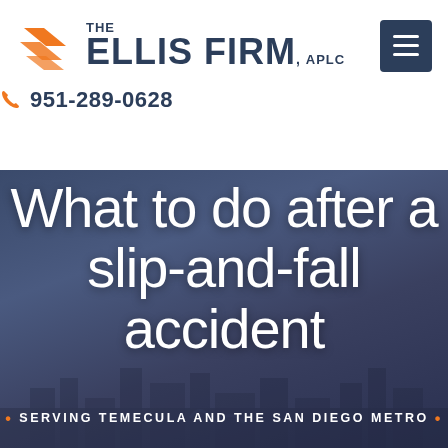THE ELLIS FIRM, APLC — 951-289-0628
What to do after a slip-and-fall accident
SERVING TEMECULA AND THE SAN DIEGO METRO